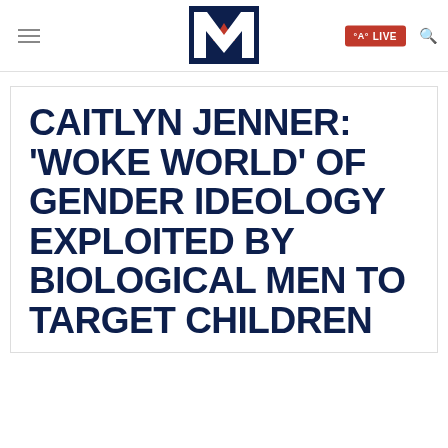M LIVE
CAITLYN JENNER: 'WOKE WORLD' OF GENDER IDEOLOGY EXPLOITED BY BIOLOGICAL MEN TO TARGET CHILDREN